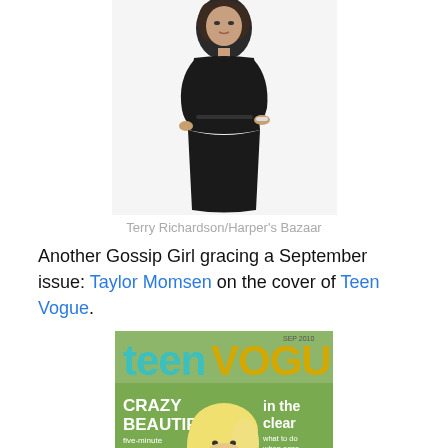[Figure (photo): Woman in black dress with thin belt, bracelet, posing against white background — fashion photo]
Terry Richardson/Harper's Bazaar
Another Gossip Girl gracing a September issue: Taylor Momsen on the cover of Teen Vogue.
[Figure (photo): Teen Vogue magazine cover featuring a blonde woman, with text: CRAZY BEAUTIFUL, five-minute makeup ideas, in the clear, what to do when acne just won't]